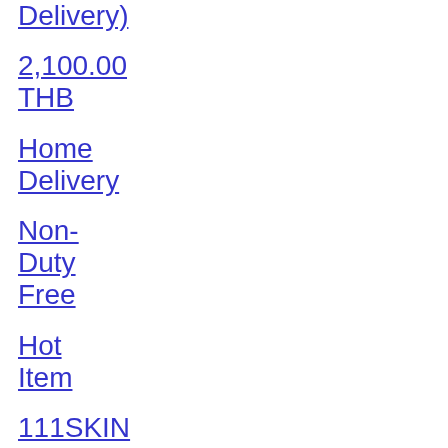Delivery)
2,100.00
THB
Home Delivery
Non-Duty Free
Hot Item
111SKIN Nocturnal Eclipse Recovery Cream NAC Y2 - 50ml (Home Delivery)